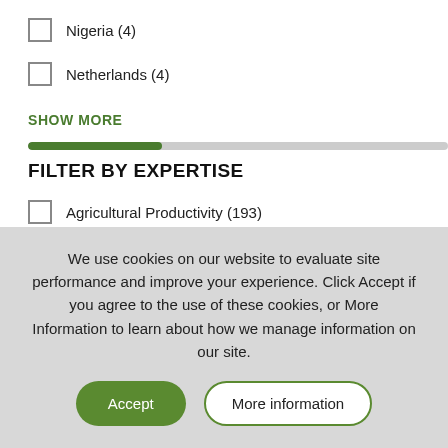Nigeria (4)
Netherlands (4)
SHOW MORE
FILTER BY EXPERTISE
Agricultural Productivity (193)
Monitoring, Evaluation, and Learning (145)
We use cookies on our website to evaluate site performance and improve your experience. Click Accept if you agree to the use of these cookies, or More Information to learn about how we manage information on our site.